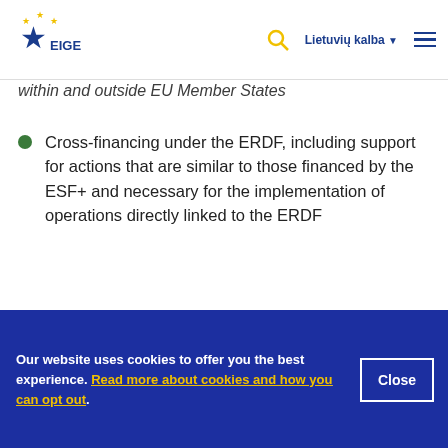EIGE — Lietuvių kalba navigation header
within and outside EU Member States
Cross-financing under the ERDF, including support for actions that are similar to those financed by the ESF+ and necessary for the implementation of operations directly linked to the ERDF
Step 3. Develop gender-aware actions to promote
Our website uses cookies to offer you the best experience. Read more about cookies and how you can opt out.